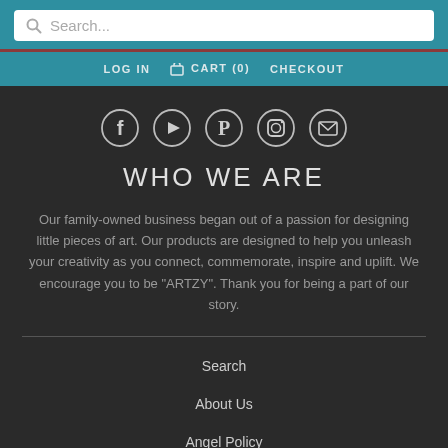Search...
LOG IN  CART (0)  CHECKOUT
[Figure (illustration): Five social media icons in circles: Facebook, YouTube, Pinterest, Instagram, Email]
WHO WE ARE
Our family-owned business began out of a passion for designing little pieces of art. Our products are designed to help you unleash your creativity as you connect, commemorate, inspire and uplift. We encourage you to be "ARTZY". Thank you for being a part of our story.
Search
About Us
Angel Policy